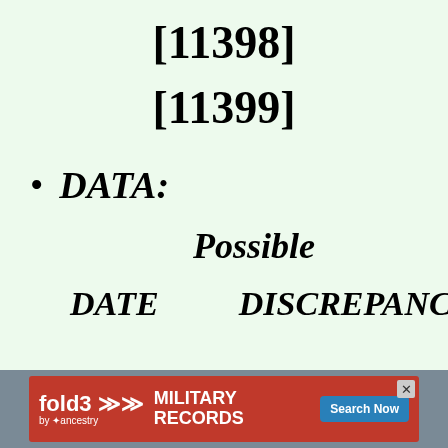[11398]
[11399]
DATA:
Possible
DATE      DISCREPANCY